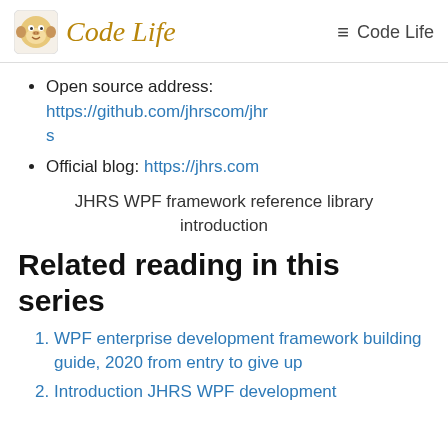Code Life  ≡ Code Life
Open source address: https://github.com/jhrscom/jhrs
Official blog: https://jhrs.com
JHRS WPF framework reference library introduction
Related reading in this series
WPF enterprise development framework building guide, 2020 from entry to give up
Introduction JHRS WPF development